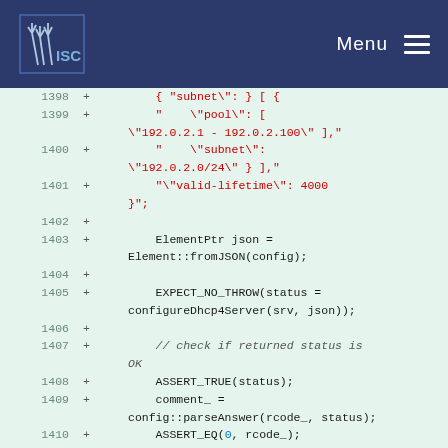ISC Menu
[Figure (screenshot): Code diff view showing lines 1398-1411 with added lines (marked with +) containing JSON configuration and C++ test code for DHCP server configuration parsing]
1398 + { "subnet": } [
1399 + "   \"pool\": [ \"192.0.2.1 - 192.0.2.100\" ],"
1400 + "   \"subnet\": \"192.0.2.0/24\" } ],"
1401 + "\"valid-lifetime\": 4000 }";
1402 +
1403 + ElementPtr json = Element::fromJSON(config);
1404 +
1405 + EXPECT_NO_THROW(status = configureDhcp4Server(srv, json));
1406 +
1407 + // check if returned status is OK
1408 + ASSERT_TRUE(status);
1409 + comment_ = config::parseAnswer(rcode_, status);
1410 + ASSERT_EQ(0, rcode_);
1411 +